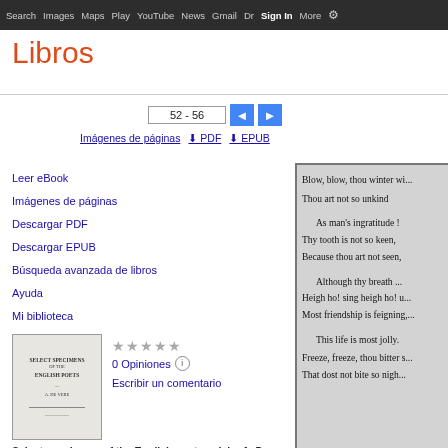Search  Images  Maps  Play  YouTube  News  Gmail  Drive  More  Sign in  ⚙
Libros
52 - 56
Imágenes de páginas  ⬇ PDF  ⬇ EPUB
Leer eBook
Imágenes de páginas
Descargar PDF
Descargar EPUB
Búsqueda avanzada de libros
Ayuda
Mi biblioteca
[Figure (illustration): Book cover thumbnail for Select specimens of the English poets]
★★★★★ 0 Opiniones ⓘ Escribir un comentario
Select specimens of the English poets, ed. by A. De Vere
Blow, blow, thou winter wi...
Thou art not so unkind

As man's ingratitude !
Thy tooth is not so keen,
Because thou art not seen,

Although thy breath ...
Heigh ho! sing heigh ho! u...
Most friendship is feigning,...

This life is most jolly.
Freeze, freeze, thou bitter s...
That dost not bite so nigh...